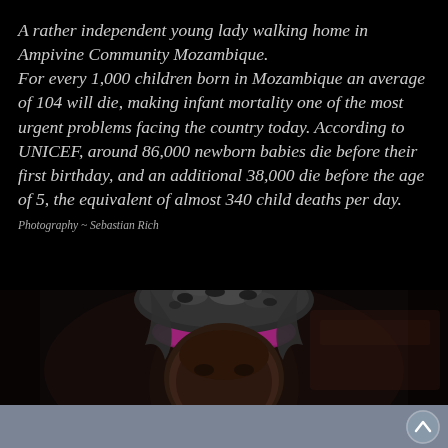A rather independent young lady walking home in Ampivine Community Mozambique. For every 1,000 children born in Mozambique an average of 104 will die, making infant mortality one of the most urgent problems facing the country today. According to UNICEF, around 86,000 newborn babies die before their first birthday, and an additional 38,000 die before the age of 5, the equivalent of almost 340 child deaths per day. Photography ~ Sebastian Rich
[Figure (photo): Close-up portrait of a young woman wearing a patterned headwrap (grey/black leopard print fabric) with a magenta/purple headband, dark background, photographed in Mozambique by Sebastian Rich.]